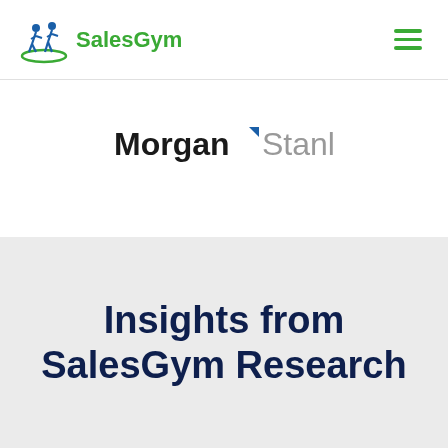[Figure (logo): SalesGym logo with two stylized figures and green circular design, followed by SalesGym text in green]
[Figure (logo): Morgan Stanley logo in dark navy and grey text]
Insights from SalesGym Research